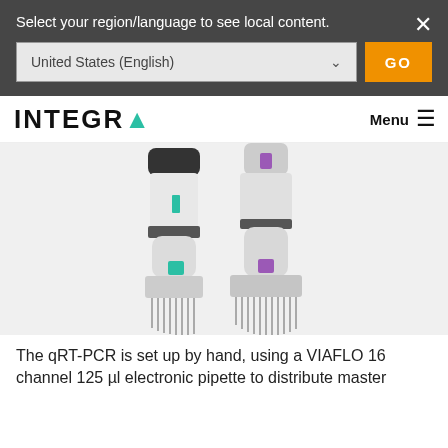Select your region/language to see local content.
United States (English)
GO
[Figure (logo): INTEGRA logo with teal/green A letterform and hamburger menu icon]
[Figure (photo): Two VIAFLO 16-channel electronic pipettes shown side by side — one with green color accent, one with purple color accent — on a light grey background]
The qRT-PCR is set up by hand, using a VIAFLO 16 channel 125 µl electronic pipette to distribute master